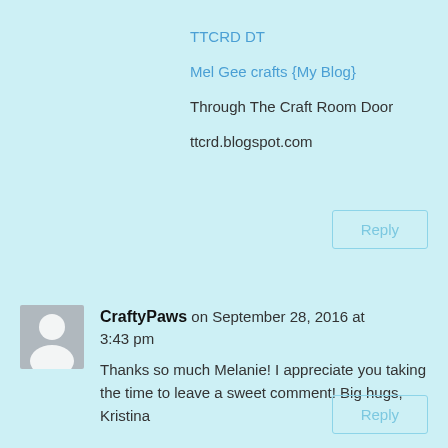TTCRD DT
Mel Gee crafts {My Blog}
Through The Craft Room Door
ttcrd.blogspot.com
Reply
CraftyPaws on September 28, 2016 at 3:43 pm
Thanks so much Melanie! I appreciate you taking the time to leave a sweet comment! Big hugs, Kristina
Reply